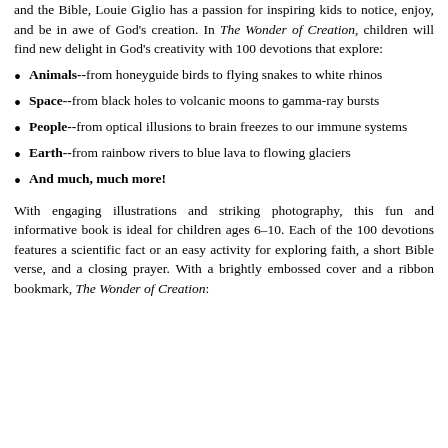and the Bible, Louie Giglio has a passion for inspiring kids to notice, enjoy, and be in awe of God's creation. In The Wonder of Creation, children will find new delight in God's creativity with 100 devotions that explore:
Animals--from honeyguide birds to flying snakes to white rhinos
Space--from black holes to volcanic moons to gamma-ray bursts
People--from optical illusions to brain freezes to our immune systems
Earth--from rainbow rivers to blue lava to flowing glaciers
And much, much more!
With engaging illustrations and striking photography, this fun and informative book is ideal for children ages 6–10. Each of the 100 devotions features a scientific fact or an easy activity for exploring faith, a short Bible verse, and a closing prayer. With a brightly embossed cover and a ribbon bookmark, The Wonder of Creation: